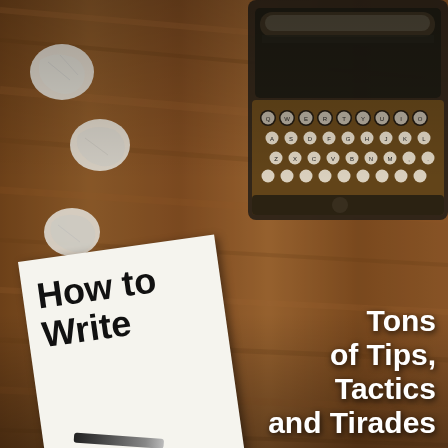[Figure (photo): Book cover showing a vintage typewriter and crumpled paper on a wooden desk surface, with a white sheet of paper and a pen. Sepia/warm toned photograph.]
How to Write
Tons of Tips, Tactics and Tirades